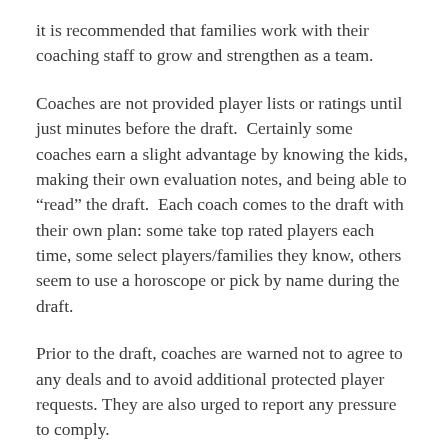it is recommended that families work with their coaching staff to grow and strengthen as a team.
Coaches are not provided player lists or ratings until just minutes before the draft.  Certainly some coaches earn a slight advantage by knowing the kids, making their own evaluation notes, and being able to “read” the draft.  Each coach comes to the draft with their own plan: some take top rated players each time, some select players/families they know, others seem to use a horoscope or pick by name during the draft.
Prior to the draft, coaches are warned not to agree to any deals and to avoid additional protected player requests. They are also urged to report any pressure to comply.
In the end the MAHA representative present at the draft, as well as the KVHA Board of Directors, have the power to invalidate the draft if there appears to be any integrity